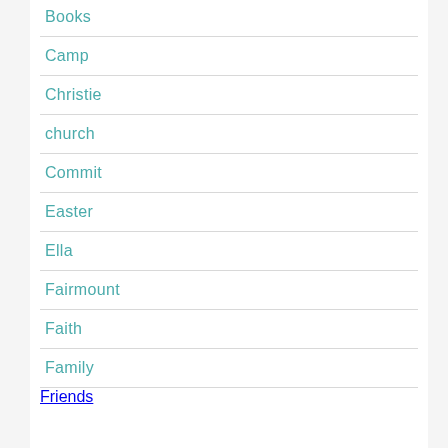Books
Camp
Christie
church
Commit
Easter
Ella
Fairmount
Faith
Family
Friends